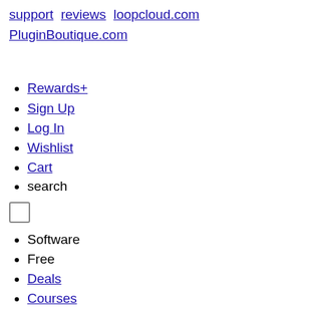support reviews loopcloud.com PluginBoutique.com
Rewards+
Sign Up
Log In
Wishlist
Cart
search
[Figure (other): Checkbox (empty square checkbox UI element)]
Software
Free
Deals
Courses
Bundles
Manufacturers
Log In
Sign Up
hot!
bundle